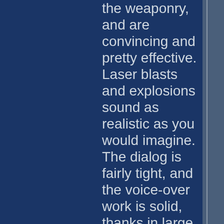the weaponry, and are convincing and pretty effective. Laser blasts and explosions sound as realistic as you would imagine. The dialog is fairly tight, and the voice-over work is solid, thanks in large part to Arnold Schwarzenegger, who voiced his own